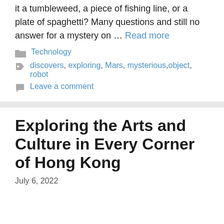it a tumbleweed, a piece of fishing line, or a plate of spaghetti? Many questions and still no answer for a mystery on … Read more
Technology
discovers, exploring, Mars, mysterious, object, robot
Leave a comment
Exploring the Arts and Culture in Every Corner of Hong Kong
July 6, 2022